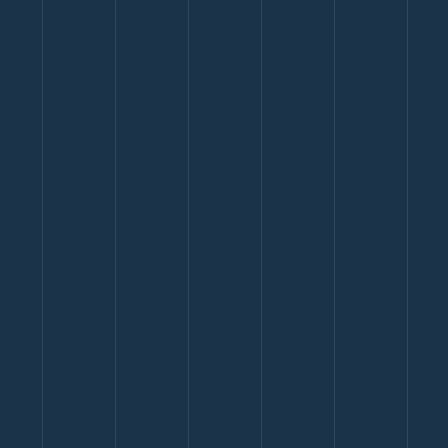Club was a group of people who were dedicated to the new Republican Party, the Union's cause in the Civil War, and